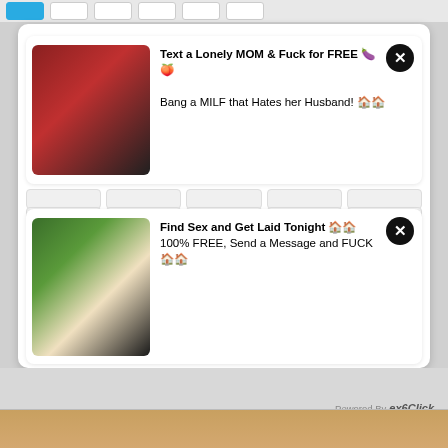[Figure (screenshot): Advertisement: Text a Lonely MOM & Fuck for FREE with woman photo]
Text a Lonely MOM & Fuck for FREE 🍆🍑
Bang a MILF that Hates her Husband! 🏠🏠
[Figure (screenshot): Advertisement: Find Sex and Get Laid Tonight with woman photo]
Find Sex and Get Laid Tonight 🏠🏠
100% FREE, Send a Message and FUCK 🏠🏠
school girl
threesome
eroge
fantasy
rape
visual novel
milf
harem
hentai game
monster
facial
hardcore
Powered By exoClick